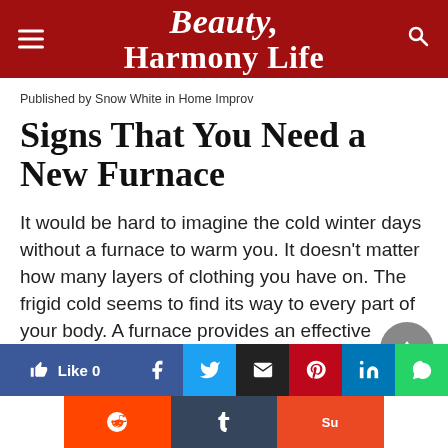Beauty Harmony Life
Published by Snow White in Home Improv
Signs That You Need a New Furnace
It would be hard to imagine the cold winter days without a furnace to warm you. It doesn't matter how many layers of clothing you have on. The frigid cold seems to find its way to every part of your body. A furnace provides an effective heating solution for the home.